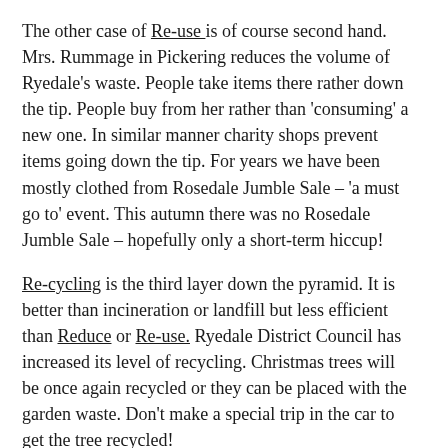The other case of Re-use is of course second hand. Mrs. Rummage in Pickering reduces the volume of Ryedale's waste. People take items there rather down the tip. People buy from her rather than 'consuming' a new one. In similar manner charity shops prevent items going down the tip. For years we have been mostly clothed from Rosedale Jumble Sale – 'a must go to' event. This autumn there was no Rosedale Jumble Sale – hopefully only a short-term hiccup!
Re-cycling is the third layer down the pyramid. It is better than incineration or landfill but less efficient than Reduce or Re-use. Ryedale District Council has increased its level of recycling. Christmas trees will be once again recycled or they can be placed with the garden waste. Don't make a special trip in the car to get the tree recycled!
I recently read that the UK will use enough Christmas...